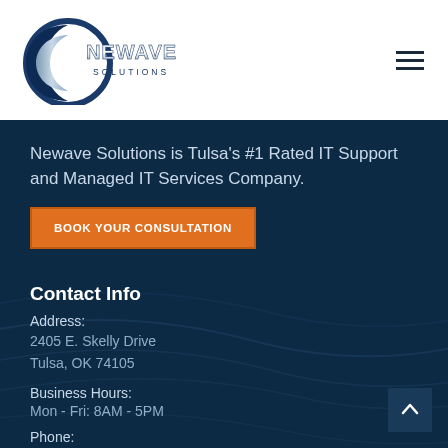[Figure (logo): Newave Solutions logo — circular wave graphic in dark navy and silver with 'NEWAVE SOLUTIONS' text]
[Figure (other): Hamburger menu icon (three horizontal lines) in top-right corner]
Newave Solutions is Tulsa's #1 Rated IT Support and Managed IT Services Company.
BOOK YOUR CONSULTATION
Contact Info
Address:
2405 E. Skelly Drive
Tulsa, OK 74105
Business Hours:
Mon - Fri: 8AM - 5PM
Phone:
TULSA IT SUPPORT